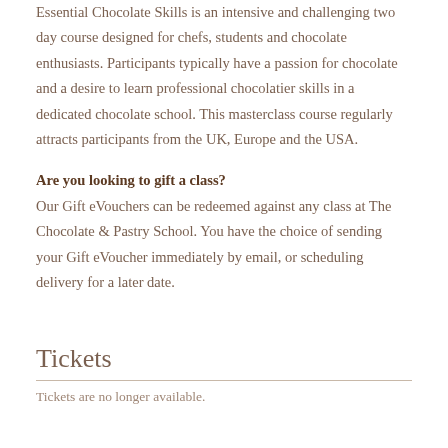Essential Chocolate Skills is an intensive and challenging two day course designed for chefs, students and chocolate enthusiasts. Participants typically have a passion for chocolate and a desire to learn professional chocolatier skills in a dedicated chocolate school. This masterclass course regularly attracts participants from the UK, Europe and the USA.
Are you looking to gift a class?
Our Gift eVouchers can be redeemed against any class at The Chocolate & Pastry School. You have the choice of sending your Gift eVoucher immediately by email, or scheduling delivery for a later date.
Tickets
Tickets are no longer available.